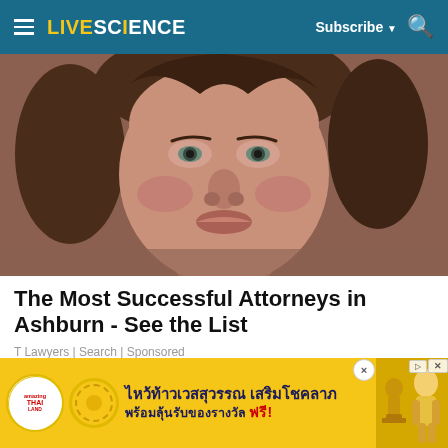LIVE SCIENCE — Subscribe ▼ 🔍
[Figure (photo): Close-up photo of a woman's face with brown hair, looking directly at the camera, slightly flushed skin]
The Most Successful Attorneys in Ashburn - See the List
T Lawyers | Search | Sponsored
[Figure (photo): Partial view of a second article image, appears to show a wooden structure or building]
[Figure (infographic): Advertisement banner in yellow for Amazing Thailand featuring Thai text: ไหว้ท้าวเวสสุวรรณ เสริมโชคลาภ พร้อมลุ้นรับของรางวัล ฟรี! with decorative circles and Thai figures]